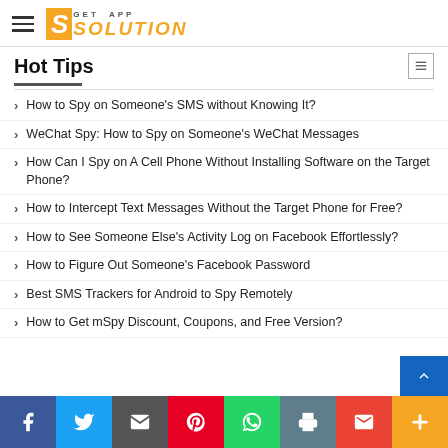Get App Solution
Hot Tips
How to Spy on Someone’s SMS without Knowing It?
WeChat Spy: How to Spy on Someone’s WeChat Messages
How Can I Spy on A Cell Phone Without Installing Software on the Target Phone?
How to Intercept Text Messages Without the Target Phone for Free?
How to See Someone Else’s Activity Log on Facebook Effortlessly?
How to Figure Out Someone’s Facebook Password
Best SMS Trackers for Android to Spy Remotely
How to Get mSpy Discount, Coupons, and Free Version?